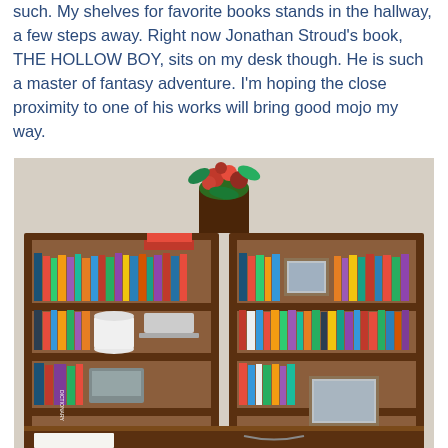such. My shelves for favorite books stands in the hallway, a few steps away. Right now Jonathan Stroud's book, THE HOLLOW BOY, sits on my desk though. He is such a master of fantasy adventure. I'm hoping the close proximity to one of his works will bring good mojo my way.
[Figure (photo): A photograph of two wooden dark-brown bookshelves filled with books of various colors and sizes. A flower arrangement sits on top between the shelves. The shelves contain multiple rows of books, a white pot, a laptop, framed photos, a dictionary, and various other items. A desk is visible at the bottom.]